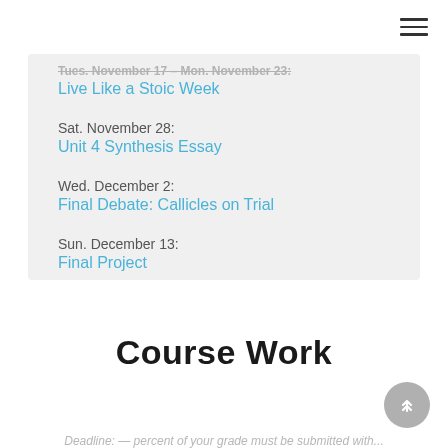Tues. November 17 – Mon. November 23:
Live Like a Stoic Week
Sat. November 28:
Unit 4 Synthesis Essay
Wed. December 2:
Final Debate: Callicles on Trial
Sun. December 13:
Final Project
Course Work